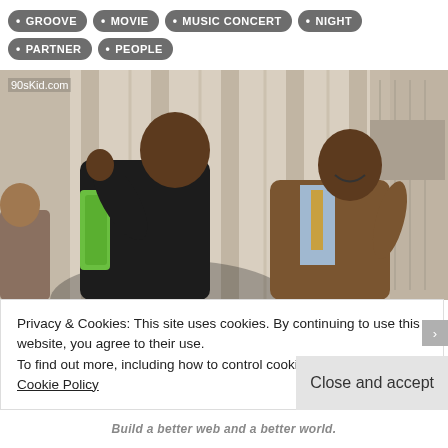• GROOVE
• MOVIE
• MUSIC CONCERT
• NIGHT
• PARTNER
• PEOPLE
[Figure (photo): Two men dancing/celebrating in what appears to be a living room with vertical blinds. One wears a dark jacket with green accents, the other wears a brown suit with a tie. Watermark reads 90sKid.com]
Privacy & Cookies: This site uses cookies. By continuing to use this website, you agree to their use.
To find out more, including how to control cookies, see here:
Cookie Policy
Close and accept
Build a better web and a better world.